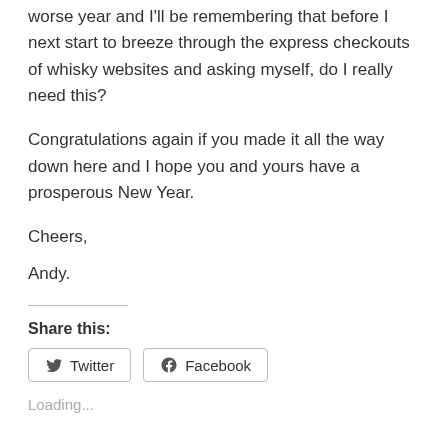worse year and I'll be remembering that before I next start to breeze through the express checkouts of whisky websites and asking myself, do I really need this?
Congratulations again if you made it all the way down here and I hope you and yours have a prosperous New Year.
Cheers,
Andy.
Share this:
[Figure (other): Twitter and Facebook share buttons]
Loading...
Related